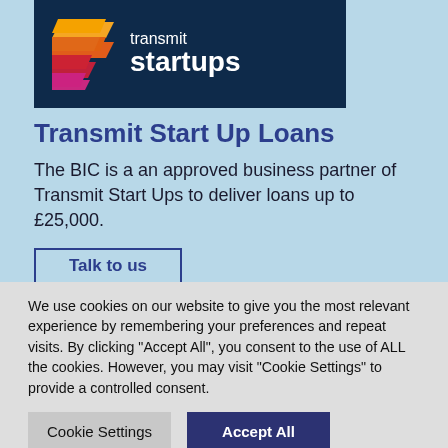[Figure (logo): Transmit Startups logo with layered parallelogram icon in orange, red, and magenta on dark navy background, with white text 'transmit startups']
Transmit Start Up Loans
The BIC is a an approved business partner of Transmit Start Ups to deliver loans up to £25,000.
Talk to us
We use cookies on our website to give you the most relevant experience by remembering your preferences and repeat visits. By clicking "Accept All", you consent to the use of ALL the cookies. However, you may visit "Cookie Settings" to provide a controlled consent.
Cookie Settings
Accept All